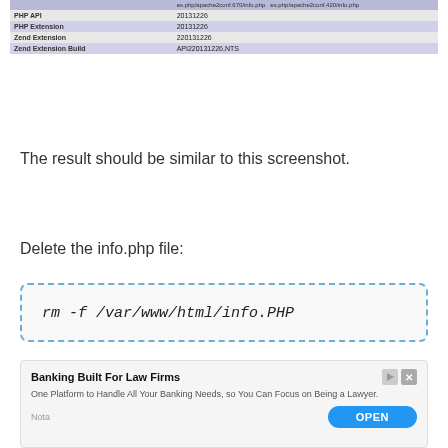|  |  |
| --- | --- |
|  | es.php/apache2conf.670/info.php es.php/apache2conf.420/info.php |
| PHP API | 20131226 |
| PHP Extension | 20131226 |
| Zend Extension | 220131226 |
| Zend Extension Build | API220131226,NTS |
The result should be similar to this screenshot.
Delete the info.php file:
rm -f /var/www/html/info.PHP
As a publicly accessible info.php file is a security risk.
[Figure (screenshot): Advertisement banner: Banking Built For Law Firms - One Platform to Handle All Your Banking Needs, so You Can Focus on Being a Lawyer. With OPEN button.]